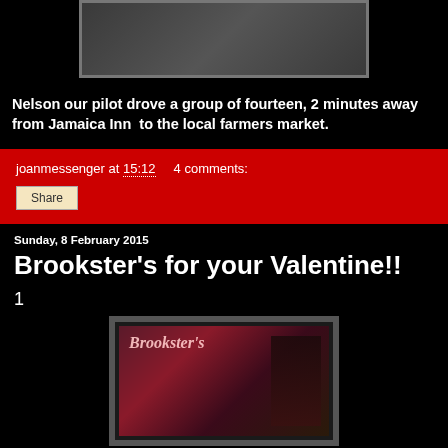[Figure (photo): Group photo of people standing outdoors]
Nelson our pilot drove a group of fourteen, 2 minutes away from Jamaica Inn to the local farmers market.
joanmessenger at 15:12    4 comments:
Share
Sunday, 8 February 2015
Brookster's for your Valentine!!
1
[Figure (photo): Brookster's Valentine gift basket with wine bottles and chocolates]